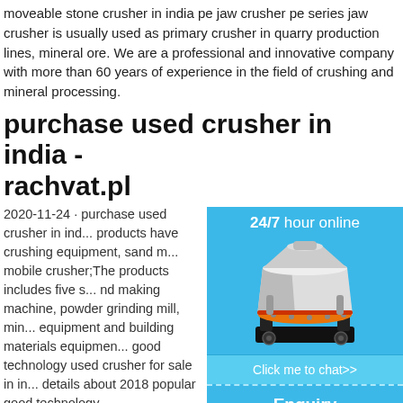moveable stone crusher in india pe jaw crusher pe series jaw crusher is usually used as primary crusher in quarry production lines, mineral ore. We are a professional and innovative company with more than 60 years of experience in the field of crushing and mineral processing.
purchase used crusher in india - rachvat.pl
2020-11-24 · purchase used crusher in india... products have crushing equipment, sand m... mobile crusher;The products includes five s... nd making machine, powder grinding mill, min... equipment and building materials equipmen... good technology used crusher for sale in in... details about 2018 popular good technology...
[Figure (photo): Industrial cone crusher machine shown in white, red and black colors on a blue background chat widget with '24/7 hour online', 'Click me to chat>>' button, 'Enquiry' section, and 'limingjlmofen' text]
purchase used crusher deriethoven.nl
2020-8-10 · buy used crusher iron in india... iron in india. Buy Used Stone Crusher In In...